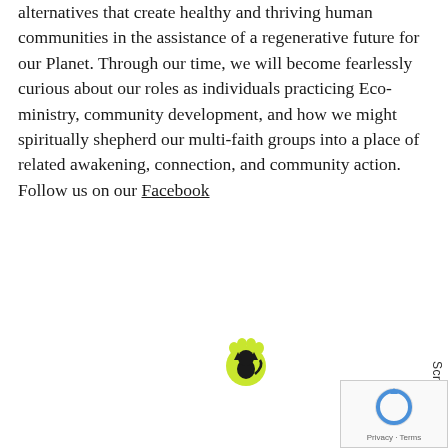alternatives that create healthy and thriving human communities in the assistance of a regenerative future for our Planet. Through our time, we will become fearlessly curious about our roles as individuals practicing Eco-ministry, community development, and how we might spiritually shepherd our multi-faith groups into a place of related awakening, connection, and community action. Follow us on our Facebook
[Figure (logo): Green paw print logo with black cat silhouette inside]
Scroll
[Figure (other): reCAPTCHA widget with Privacy and Terms links]